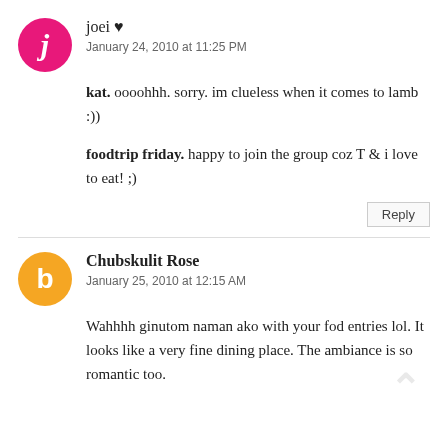joei ♥
January 24, 2010 at 11:25 PM
kat. oooohhh. sorry. im clueless when it comes to lamb :))
foodtrip friday. happy to join the group coz T & i love to eat! ;)
Reply
Chubskulit Rose
January 25, 2010 at 12:15 AM
Wahhhh ginutom naman ako with your fod entries lol. It looks like a very fine dining place. The ambiance is so romantic too.